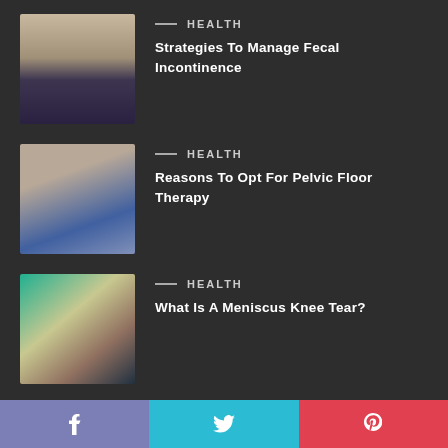[Figure (photo): Person holding their stomach/abdomen area with striped shirt]
HEALTH
Strategies To Manage Fecal Incontinence
[Figure (photo): Hands resting on knee joint, pelvic/knee therapy related]
HEALTH
Reasons To Opt For Pelvic Floor Therapy
[Figure (photo): Anatomical illustration of meniscus knee joint]
HEALTH
What Is A Meniscus Knee Tear?
[Figure (photo): Person's wrist being examined, related to gout medication]
HEALTH
Ulorix Side Effects: Some Important Options
QUICK LINK
DISORDERS
f  [Twitter bird]  [Pinterest logo]